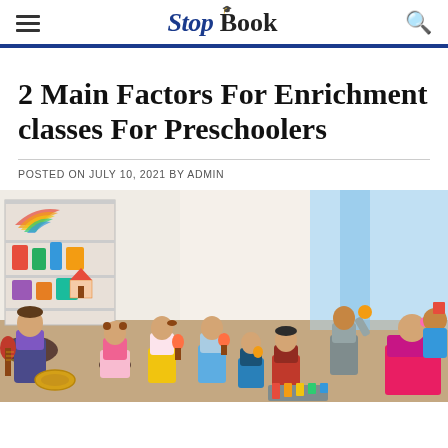Stop Book
2 Main Factors For Enrichment classes For Preschoolers
POSTED ON JULY 10, 2021 BY ADMIN
[Figure (photo): Children in a preschool classroom playing with musical instruments and toys, with a teacher sitting among them. Kids are holding maracas, a guitar, and other items in a bright, colorful room with shelves of toys.]